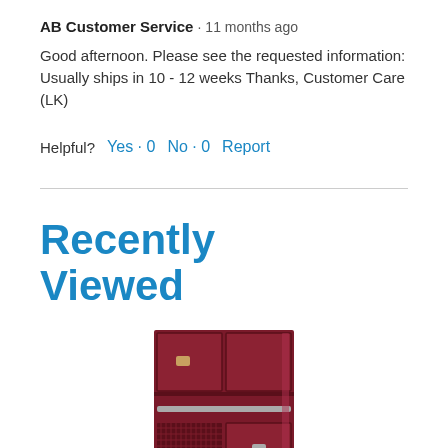AB Customer Service · 11 months ago
Good afternoon. Please see the requested information: Usually ships in 10 - 12 weeks Thanks, Customer Care (LK)
Helpful? Yes · 0   No · 0   Report
Recently Viewed
[Figure (photo): Photo of a dark red/maroon metal locker unit with multiple compartments and a mesh panel at the bottom]